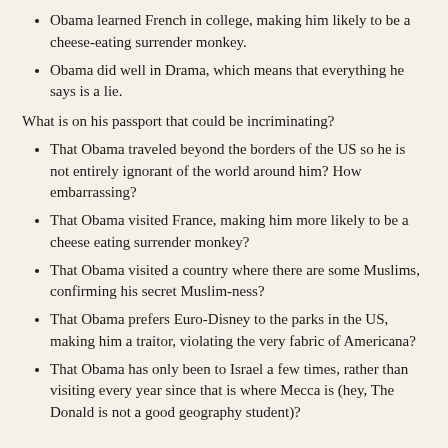Obama learned French in college, making him likely to be a cheese-eating surrender monkey.
Obama did well in Drama, which means that everything he says is a lie.
What is on his passport that could be incriminating?
That Obama traveled beyond the borders of the US so he is not entirely ignorant of the world around him? How embarrassing?
That Obama visited France, making him more likely to be a cheese eating surrender monkey?
That Obama visited a country where there are some Muslims, confirming his secret Muslim-ness?
That Obama prefers Euro-Disney to the parks in the US, making him a traitor, violating the very fabric of Americana?
That Obama has only been to Israel a few times, rather than visiting every year since that is where Mecca is (hey, The Donald is not a good geography student)?